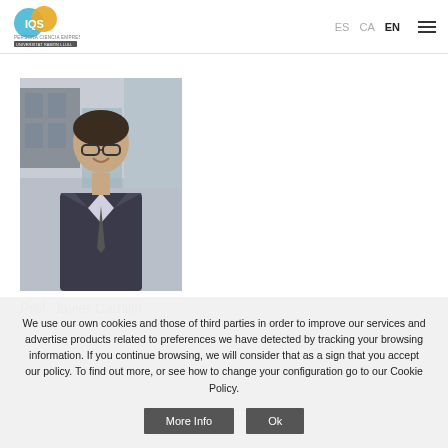IQS – ES  CA  EN
[Figure (photo): Portrait photo of a man in a suit smiling, standing outdoors in front of a building]
Prof. Javier Carnilin
We use our own cookies and those of third parties in order to improve our services and advertise products related to preferences we have detected by tracking your browsing information. If you continue browsing, we will consider that as a sign that you accept our policy. To find out more, or see how to change your configuration go to our Cookie Policy.
More Info  Ok